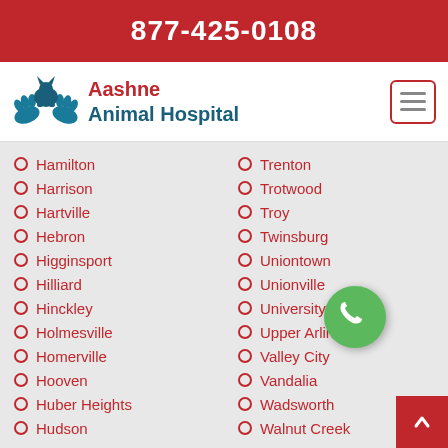877-425-0108
[Figure (logo): Aashne Animal Hospital logo with teal hands and animal silhouette]
Aashne Animal Hospital
Hamilton
Harrison
Hartville
Hebron
Higginsport
Hilliard
Hinckley
Holmesville
Homerville
Hooven
Huber Heights
Hudson
Trenton
Trotwood
Troy
Twinsburg
Uniontown
Unionville
University Heights
Upper Arlington
Valley City
Vandalia
Wadsworth
Walnut Creek